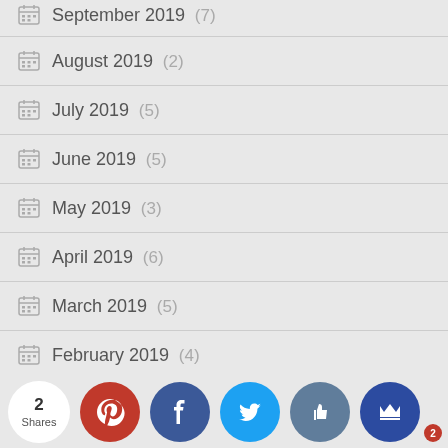September 2019 (7)
August 2019 (2)
July 2019 (5)
June 2019 (5)
May 2019 (3)
April 2019 (6)
March 2019 (5)
February 2019 (4)
January 2019 (6)
December 2018 (5)